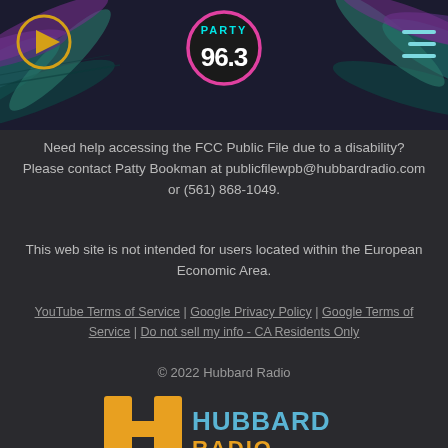[Figure (logo): Party 96.3 radio station header with tropical leaf background, play button icon, station logo, and hamburger menu]
Need help accessing the FCC Public File due to a disability? Please contact Patty Bookman at publicfilewpb@hubbardradio.com or (561) 868-1049.
This web site is not intended for users located within the European Economic Area.
YouTube Terms of Service | Google Privacy Policy | Google Terms of Service | Do not sell my info - CA Residents Only
© 2022 Hubbard Radio
[Figure (logo): Hubbard Radio logo with orange H-shaped icon and blue HUBBARD RADIO text]